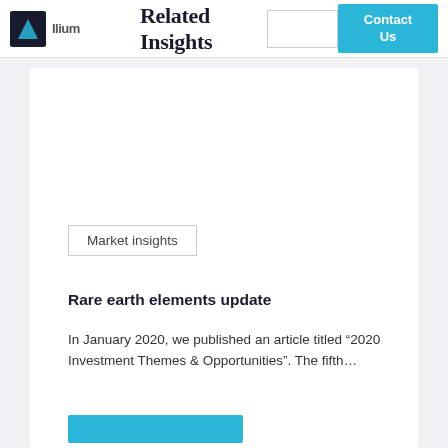Related Insights | Contact Us
Market insights
Rare earth elements update
In January 2020, we published an article titled “2020 Investment Themes & Opportunities”. The fifth…